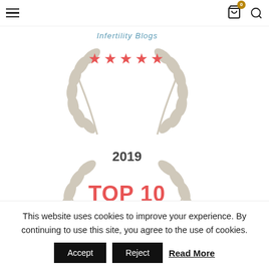[Figure (illustration): Top navigation bar with hamburger menu, shopping cart icon with badge '0', and search icon]
[Figure (illustration): Award badge: Top 10 Infertility Blogs with five red stars, laurel wreath decoration on sides. Partially cropped at top.]
[Figure (illustration): Award badge: 2019 TOP 10 Infertility Blogs with red stars, laurel wreath decoration on sides. Lower badge visible.]
This website uses cookies to improve your experience. By continuing to use this site, you agree to the use of cookies.
Accept   Reject   Read More